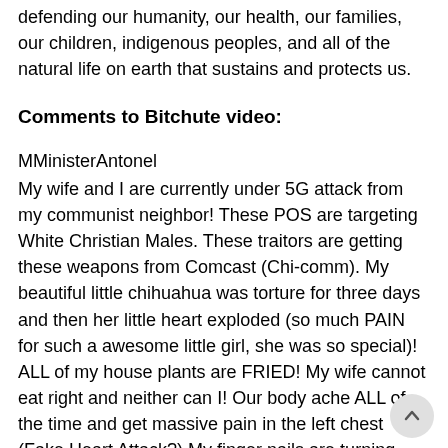defending our humanity, our health, our families, our children, indigenous peoples, and all of the natural life on earth that sustains and protects us.
Comments to Bitchute video:
MMinisterAntonel
My wife and I are currently under 5G attack from my communist neighbor! These POS are targeting White Christian Males. These traitors are getting these weapons from Comcast (Chi-comm). My beautiful little chihuahua was torture for three days and then her little heart exploded (so much PAIN for such a awesome little girl, she was so special)! ALL of my house plants are FRIED! My wife cannot eat right and neither can I! Our body ache ALL of the time and get massive pain in the left chest (Fake Heart Attack?) My finger nails are turning